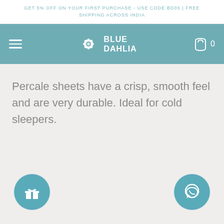GET 5% OFF ON YOUR FIRST PURCHASE - USE CODE BD05 | FREE SHIPPING ACROSS INDIA
[Figure (logo): Blue Dahlia brand logo with navigation bar on teal background, hamburger menu on left, flower logo and BLUE DAHLIA text centered, shopping bag icon and 0 on right]
Percale sheets have a crisp, smooth feel and are very durable. Ideal for cold sleepers.
[Figure (illustration): Gift box icon in teal circle button at bottom left]
[Figure (illustration): WhatsApp icon in teal circle button at bottom right]